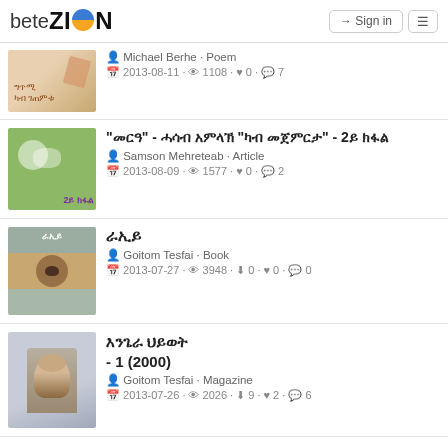beteZION — Sign in | Menu
[Figure (screenshot): Thumbnail image for first item — scroll with Tigrinya text]
Michael Berhе · Poem
2013-08-11 · 1108 · 0 · 7
[Figure (screenshot): Thumbnail with stones and rings on green background with purple Tigrinya text '2ይ ክፋል']
"መርዓ" - ሓሳብ አምላኽ "ካብ መጀምርታ" - 2ይ ክፋል
Samson Mehreteab · Article
2013-08-09 · 1577 · 0 · 2
[Figure (screenshot): Thumbnail of book cover 'ራኢይ' with eye graphic]
ራኢይ
Goitom Tesfai · Book
2013-07-27 · 3948 · 0 · 0 · 0
[Figure (screenshot): Thumbnail of Jesus Christ image for magazine]
እንጌራ ህይወት - 1 (2000)
Goitom Tesfai · Magazine
2013-07-26 · 2026 · 9 · 2 · 6